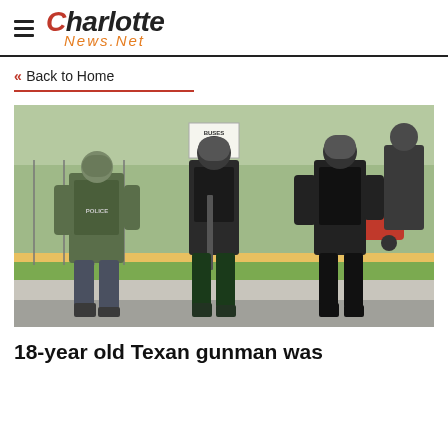Charlotte News.Net
« Back to Home
[Figure (photo): Law enforcement officers in tactical gear and helmets standing outside near a chain-link fence, one wearing a vest labeled POLICE.]
18-year old Texan gunman was